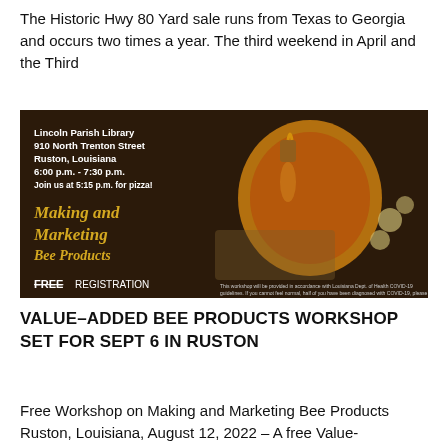The Historic Hwy 80 Yard sale runs from Texas to Georgia and occurs two times a year. The third weekend in April and the Third
[Figure (infographic): Advertisement for a free workshop on Making and Marketing Bee Products at Lincoln Parish Library, 910 North Trenton Street, Ruston, Louisiana, 6:00 p.m. - 7:30 p.m. Join us at 5:15 p.m. for pizza! Free Registration. Dark brown background with a jar of honey and dried flowers.]
VALUE-ADDED BEE PRODUCTS WORKSHOP SET FOR SEPT 6 IN RUSTON
Free Workshop on Making and Marketing Bee Products Ruston, Louisiana, August 12, 2022 – A free Value-